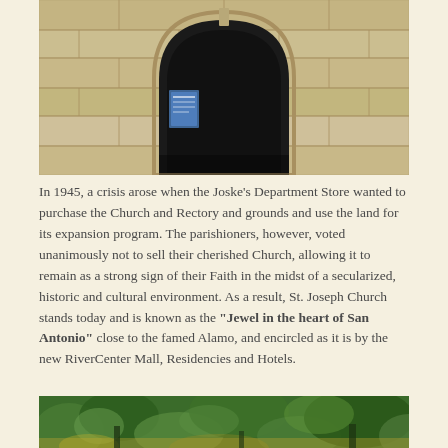[Figure (photo): Close-up photograph of a stone church facade showing an arched gothic doorway with light-colored limestone blocks and a small notice board visible]
In 1945, a crisis arose when the Joske's Department Store wanted to purchase the Church and Rectory and grounds and use the land for its expansion program. The parishioners, however, voted unanimously not to sell their cherished Church, allowing it to remain as a strong sign of their Faith in the midst of a secularized, historic and cultural environment. As a result, St. Joseph Church stands today and is known as the “Jewel in the heart of San Antonio” close to the famed Alamo, and encircled as it is by the new RiverCenter Mall, Residencies and Hotels.
[Figure (photo): Photograph showing lush green foliage and trees at the bottom of the page]